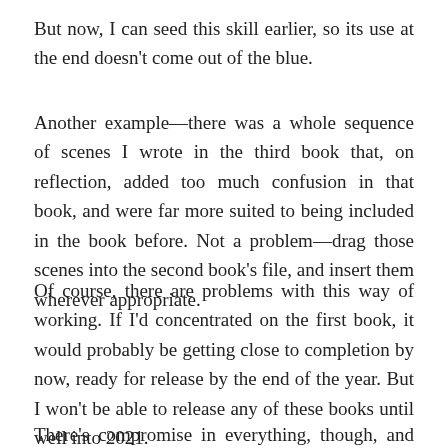But now, I can seed this skill earlier, so its use at the end doesn't come out of the blue.
Another example—there was a whole sequence of scenes I wrote in the third book that, on reflection, added too much confusion in that book, and were far more suited to being included in the book before. Not a problem—drag those scenes into the second book's file, and insert them wherever appropriate.
Of course, there are problems with this way of working. If I'd concentrated on the first book, it would probably be getting close to completion by now, ready for release by the end of the year. But I won't be able to release any of these books until well into 2021.
There's compromise in everything, though, and on